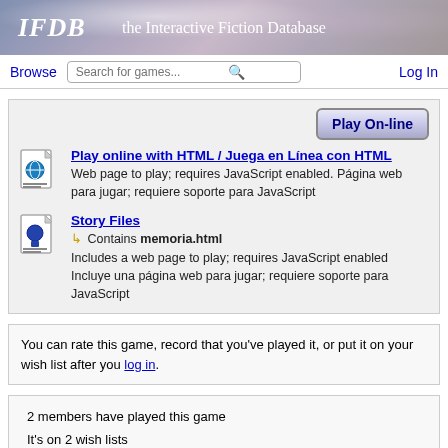IFDB — the Interactive Fiction Database
Browse | Search for games... | Log In
Play online with HTML / Juega en Línea con HTML — Web page to play; requires JavaScript enabled. Página web para jugar; requiere soporte para JavaScript
Story Files — Contains memoria.html — Includes a web page to play; requires JavaScript enabled Incluye una página web para jugar; requiere soporte para JavaScript
You can rate this game, record that you've played it, or put it on your wish list after you log in.
2 members have played this game
It's on 2 wish lists